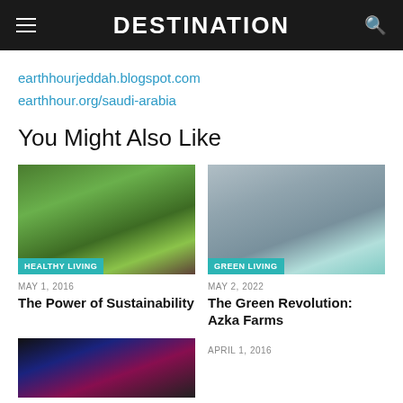DESTINATION
earthhourjeddah.blogspot.com
earthhour.org/saudi-arabia
You Might Also Like
[Figure (photo): A lush farm field with rows of green leafy vegetables and palm trees in the background. Badge: HEALTHY LIVING]
[Figure (photo): A man in white traditional Saudi attire and sunglasses standing in a greenhouse. Badge: GREEN LIVING]
MAY 1, 2016
The Power of Sustainability
MAY 2, 2022
The Green Revolution: Azka Farms
[Figure (photo): A dark image with colorful stage lights or neon lights visible]
APRIL 1, 2016